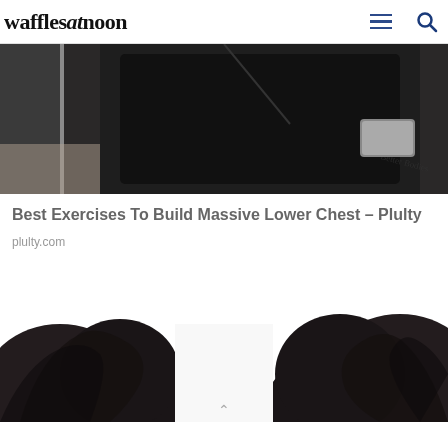wafflesatnoon
[Figure (photo): A person wearing a black Better Bodies hoodie/shirt in a gym setting with a squat rack visible]
Best Exercises To Build Massive Lower Chest – Plulty
plulty.com
[Figure (photo): Close-up of dark curly hair, two portions visible on left and right sides of a white background]